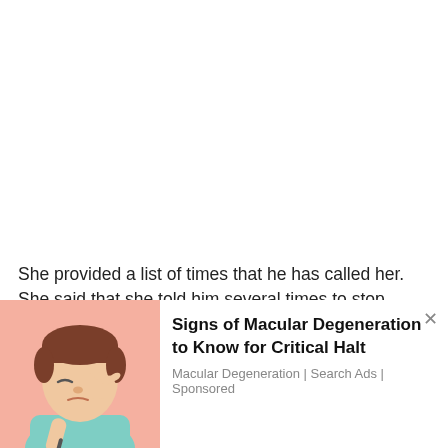She provided a list of times that he has called her. She said that she told him several times to stop calling, but he still continued. The list was from 8-4-2014 to 8-5-2014. Simon has called or had attempted to call her 4 times on August 4, starting at 4:46 p.m. until 19:54 p.m. Then on August 5, he called or attempted to call her 37 times
[Figure (illustration): Cartoon illustration of a man rubbing his eyes, with a pink/salmon background]
Signs of Macular Degeneration to Know for Critical Halt
Macular Degeneration | Search Ads | Sponsored